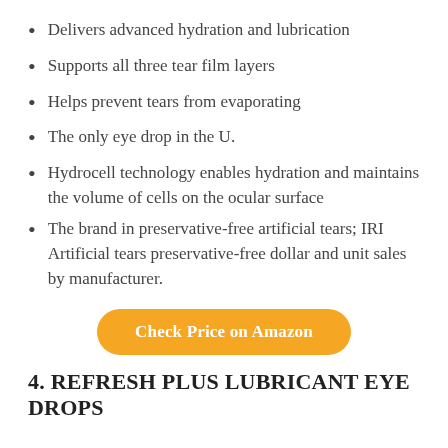Delivers advanced hydration and lubrication
Supports all three tear film layers
Helps prevent tears from evaporating
The only eye drop in the U.
Hydrocell technology enables hydration and maintains the volume of cells on the ocular surface
The brand in preservative-free artificial tears; IRI Artificial tears preservative-free dollar and unit sales by manufacturer.
Check Price on Amazon
4. REFRESH PLUS LUBRICANT EYE DROPS